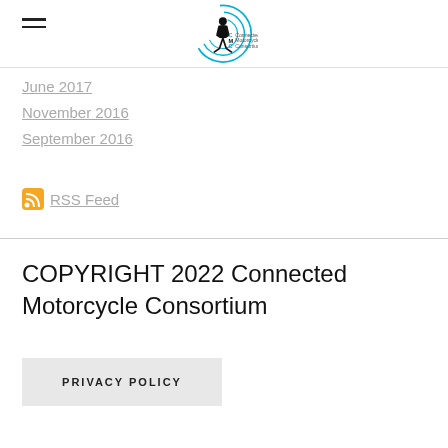Connected Motorcycle Consortium
June 2017
November 2016
September 2016
RSS Feed
COPYRIGHT 2022 Connected Motorcycle Consortium
PRIVACY POLICY